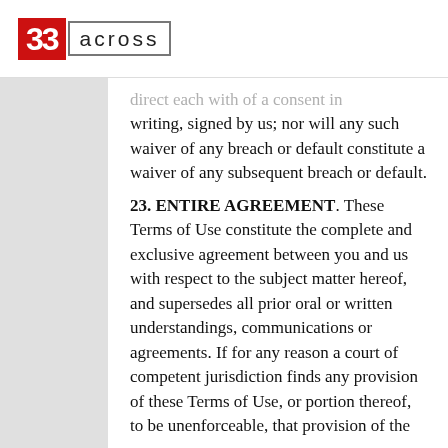[Figure (logo): 33 Across company logo: red box with '33' in white, followed by 'across' in outlined box with letter-spacing]
direct each with of a consent in writing, signed by us; nor will any such waiver of any breach or default constitute a waiver of any subsequent breach or default.
23. ENTIRE AGREEMENT. These Terms of Use constitute the complete and exclusive agreement between you and us with respect to the subject matter hereof, and supersedes all prior oral or written understandings, communications or agreements. If for any reason a court of competent jurisdiction finds any provision of these Terms of Use, or portion thereof, to be unenforceable, that provision of the